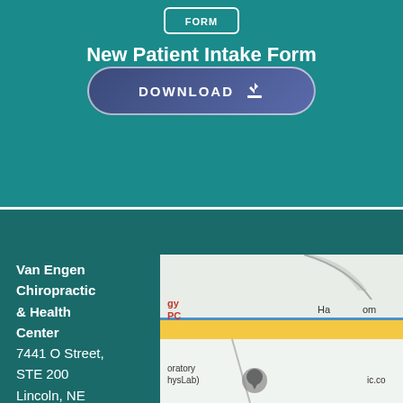New Patient Intake Form
[Figure (other): Download button with icon for New Patient Intake Form]
Van Engen Chiropractic & Health Center
7441 O Street, STE 200
Lincoln, NE
Chiropractic:
402-486-3858
chiroinfo@vanenge...
Health Center:
402-489-0130
healthcenter@vane...
Fax: (402)
[Figure (map): Google Maps snippet showing location near O Street]